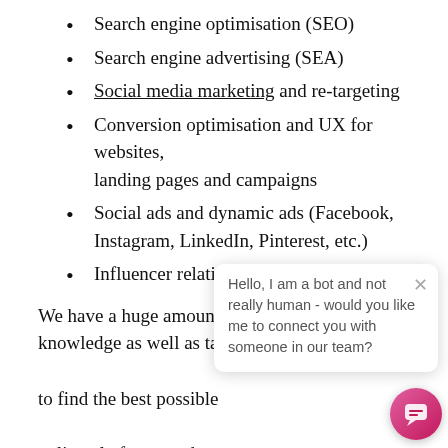Search engine optimisation (SEO)
Search engine advertising (SEA)
Social media marketing and re-targeting
Conversion optimisation and UX for websites, landing pages and campaigns
Social ads and dynamic ads (Facebook, Instagram, LinkedIn, Pinterest, etc.)
Influencer relations
We have a huge amount of background knowledge as well as tactical and tec... to find the best possible... online platforms and se... many years of experien... agency in Switzerland,... knit network of Swiss ex... industry insiders who offer us support with specific issues at any stage of our strategic work.
We know what matters in online marketing. As digital...